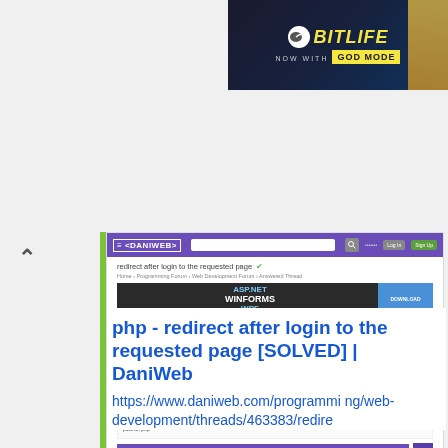[Figure (screenshot): BitLife ad banner with 'NOW WITH GOD MODE' text on dark background]
[Figure (screenshot): Screenshot of DaniWeb forum page showing 'redirect after login to the requested page [SOLVED]' thread with purple navigation bar, forum post content, and purple Reply to this Topic button]
php - redirect after login to the requested page [SOLVED] | DaniWeb
https://www.daniweb.com/programming/web-development/threads/463383/redire